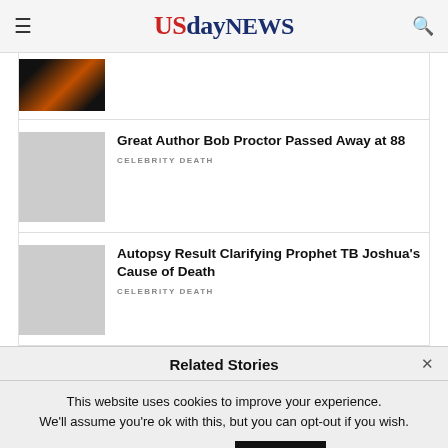USdayNEWS
[Figure (photo): Small thumbnail image of a guitar with dark background]
Great Author Bob Proctor Passed Away at 88
CELEBRITY DEATH
[Figure (photo): Empty grey thumbnail placeholder]
Autopsy Result Clarifying Prophet TB Joshua's Cause of Death
CELEBRITY DEATH
Related Stories
This website uses cookies to improve your experience. We'll assume you're ok with this, but you can opt-out if you wish.  Cookie settings  ACCEPT